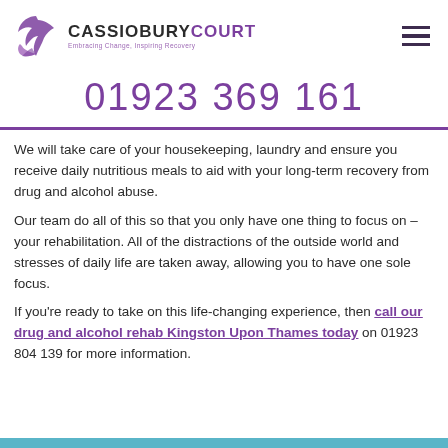[Figure (logo): Cassiobury Court logo with purple bird/hand graphic and text 'CASSIOBURYCOURT - Embracing Change, Inspiring Recovery']
01923 369 161
We will take care of your housekeeping, laundry and ensure you receive daily nutritious meals to aid with your long-term recovery from drug and alcohol abuse.
Our team do all of this so that you only have one thing to focus on – your rehabilitation. All of the distractions of the outside world and stresses of daily life are taken away, allowing you to have one sole focus.
If you're ready to take on this life-changing experience, then call our drug and alcohol rehab Kingston Upon Thames today on 01923 804 139 for more information.